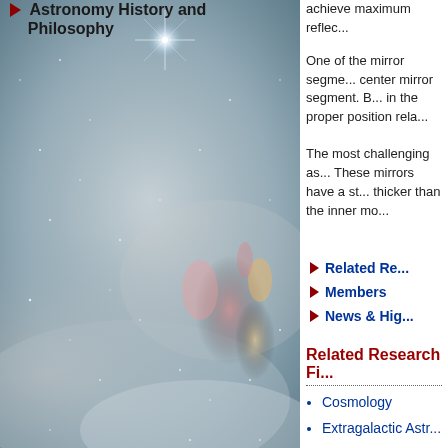Astronomy History and Philosophy
[Figure (photo): Hubble Space Telescope image of a nebula/star-forming region with stars and colorful gas clouds against a grey-blue background]
achieve maximum reflec...
One of the mirror segments... center mirror segment. B... in the proper position rela...
The most challenging as... These mirrors have a st... thicker than the inner mo...
Related Re...
Members
News & Hig...
Related Research Fi...
Cosmology
Extragalactic Astr...
Galactic Astronom...